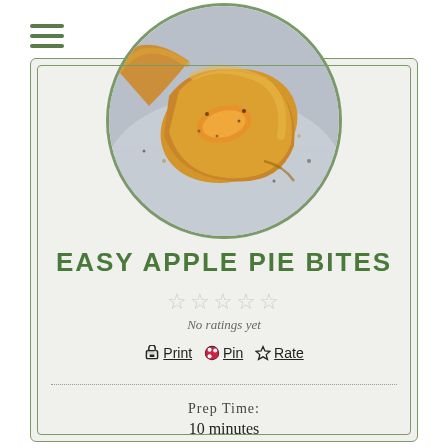MENU
[Figure (photo): Close-up photo of apple pie bites — crescent roll pastry wrapped around apple slices with cinnamon, shown in a circular cropped image]
EASY APPLE PIE BITES
No ratings yet
Print  Pin  Rate
Prep Time: 10 minutes